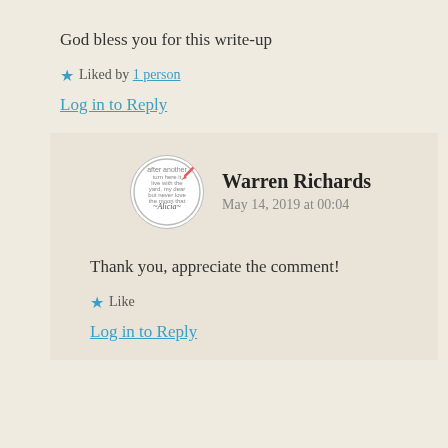God bless you for this write-up
★ Liked by 1 person
Log in to Reply
Warren Richards
May 14, 2019 at 00:04
Thank you, appreciate the comment!
★ Like
Log in to Reply